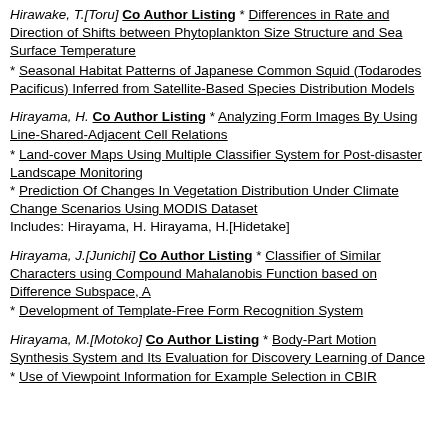Hirawake, T.[Toru] Co Author Listing * Differences in Rate and Direction of Shifts between Phytoplankton Size Structure and Sea Surface Temperature * Seasonal Habitat Patterns of Japanese Common Squid (Todarodes Pacificus) Inferred from Satellite-Based Species Distribution Models
Hirayama, H. Co Author Listing * Analyzing Form Images By Using Line-Shared-Adjacent Cell Relations * Land-cover Maps Using Multiple Classifier System for Post-disaster Landscape Monitoring * Prediction Of Changes In Vegetation Distribution Under Climate Change Scenarios Using MODIS Dataset Includes: Hirayama, H. Hirayama, H.[Hidetake]
Hirayama, J.[Junichi] Co Author Listing * Classifier of Similar Characters using Compound Mahalanobis Function based on Difference Subspace, A * Development of Template-Free Form Recognition System
Hirayama, M.[Motoko] Co Author Listing * Body-Part Motion Synthesis System and Its Evaluation for Discovery Learning of Dance * Use of Viewpoint Information for Example Selection in CBIR...